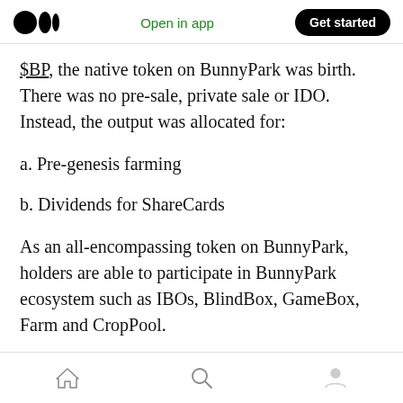Medium app header — Open in app | Get started
$BP, the native token on BunnyPark was birth. There was no pre-sale, private sale or IDO. Instead, the output was allocated for:
a. Pre-genesis farming
b. Dividends for ShareCards
As an all-encompassing token on BunnyPark, holders are able to participate in BunnyPark ecosystem such as IBOs, BlindBox, GameBox, Farm and CropPool.
Mobile nav bar: Home | Search | Profile